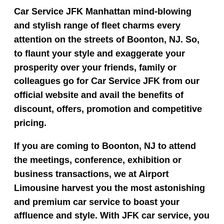Car Service JFK Manhattan mind-blowing and stylish range of fleet charms every attention on the streets of Boonton, NJ. So, to flaunt your style and exaggerate your prosperity over your friends, family or colleagues go for Car Service JFK from our official website and avail the benefits of discount, offers, promotion and competitive pricing.
If you are coming to Boonton, NJ to attend the meetings, conference, exhibition or business transactions, we at Airport Limousine harvest you the most astonishing and premium car service to boast your affluence and style. With JFK car service, you get the most generous, uniformed, and highly professional chauffeur service with convenience and private ride towards your